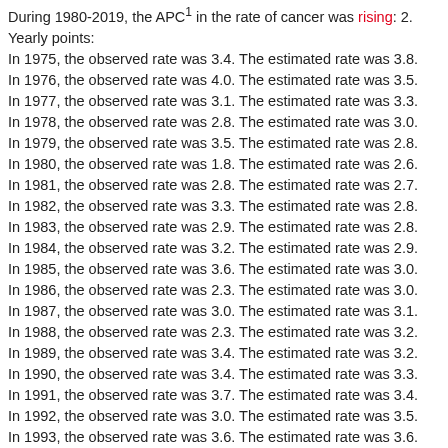During 1980-2019, the APC¹ in the rate of cancer was rising: 2. Yearly points:
In 1975, the observed rate was 3.4. The estimated rate was 3.8.
In 1976, the observed rate was 4.0. The estimated rate was 3.5.
In 1977, the observed rate was 3.1. The estimated rate was 3.3.
In 1978, the observed rate was 2.8. The estimated rate was 3.0.
In 1979, the observed rate was 3.5. The estimated rate was 2.8.
In 1980, the observed rate was 1.8. The estimated rate was 2.6.
In 1981, the observed rate was 2.8. The estimated rate was 2.7.
In 1982, the observed rate was 3.3. The estimated rate was 2.8.
In 1983, the observed rate was 2.9. The estimated rate was 2.8.
In 1984, the observed rate was 3.2. The estimated rate was 2.9.
In 1985, the observed rate was 3.6. The estimated rate was 3.0.
In 1986, the observed rate was 2.3. The estimated rate was 3.0.
In 1987, the observed rate was 3.0. The estimated rate was 3.1.
In 1988, the observed rate was 2.3. The estimated rate was 3.2.
In 1989, the observed rate was 3.4. The estimated rate was 3.2.
In 1990, the observed rate was 3.4. The estimated rate was 3.3.
In 1991, the observed rate was 3.7. The estimated rate was 3.4.
In 1992, the observed rate was 3.0. The estimated rate was 3.5.
In 1993, the observed rate was 3.6. The estimated rate was 3.6.
In 1994, the observed rate was 4.0. The estimated rate was 3.6.
In 1995, the observed rate was 3.8. The estimated rate was 3.7.
In 1996, the observed rate was 3.9. The estimated rate was 3.8.